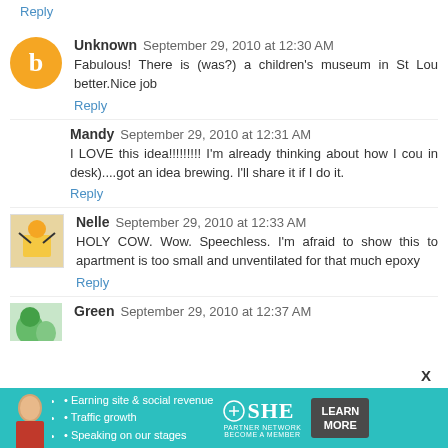Reply
Unknown  September 29, 2010 at 12:30 AM
Fabulous! There is (was?) a children's museum in St Lou better.Nice job
Reply
Mandy  September 29, 2010 at 12:31 AM
I LOVE this idea!!!!!!!!! I'm already thinking about how I cou in desk)....got an idea brewing. I'll share it if I do it.
Reply
Nelle  September 29, 2010 at 12:33 AM
HOLY COW. Wow. Speechless. I'm afraid to show this to apartment is too small and unventilated for that much epoxy
Reply
Green  September 29, 2010 at 12:37 AM
[Figure (infographic): SHE Partner Network advertisement banner with teal background, woman photo, bullet points about earning site & social revenue, traffic growth, speaking on stages, SHE logo, and Learn More button]